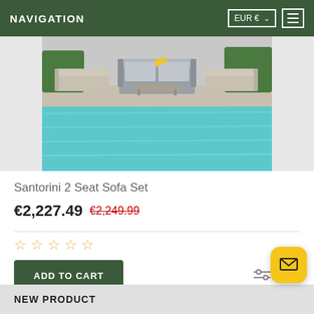NAVIGATION  EUR €  ☰
[Figure (photo): Outdoor patio furniture set with a grey rattan sofa, two lounge chairs, and a coffee table, beside a swimming pool with turquoise water and green plants in the background.]
Santorini 2 Seat Sofa Set
€2,227.49  €2,249.99 (strikethrough)
★ ★ ★ ★ ★ (empty stars rating)
ADD TO CART
NEW PRODUCT